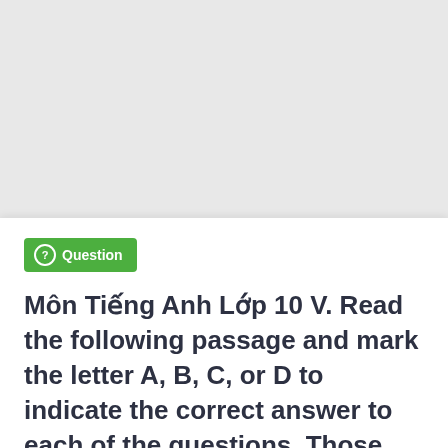Question
Môn Tiếng Anh Lớp 10 V. Read the following passage and mark the letter A, B, C, or D to indicate the correct answer to each of the questions. Those who are